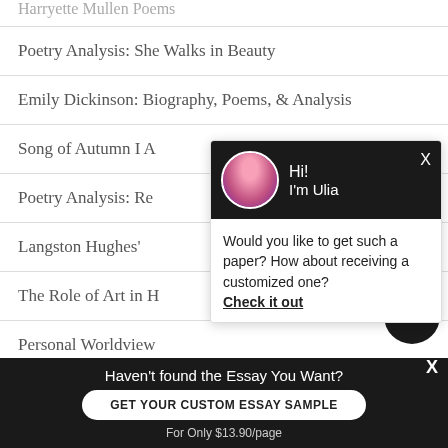Harryette Mullen Poems
Poetry Analysis: She Walks in Beauty
Emily Dickinson: Biography, Poems, & Analysis
Song of Autumn I A
Poetry Analysis: Re
Langston Hughes'
The Role of Art in H
Personal Worldview
[Figure (screenshot): Chatbot dialog popup with avatar of a woman with pink/red hair, greeting text 'Hi! I'm Ulia', and message 'Would you like to get such a paper? How about receiving a customized one? Check it out']
[Figure (screenshot): Chat bubble icon button, dark circular button with message icon]
Haven't found the Essay You Want?
GET YOUR CUSTOM ESSAY SAMPLE
For Only $13.90/page